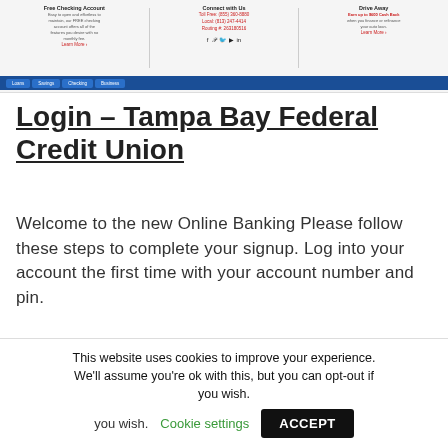[Figure (screenshot): Screenshot of Tampa Bay Federal Credit Union website banner with sections: Free Checking Account, Connect with Us (phone numbers and social media icons), and Drive Away (earn up to $600 Cash Back) with navigation bar below]
Login – Tampa Bay Federal Credit Union
Welcome to the new Online Banking Please follow these steps to complete your signup. Log into your account the first time with your account number and pin.
[Figure (logo): Tampa Bay Federal Credit Union logo, partially visible, with red arc and blue text]
This website uses cookies to improve your experience. We'll assume you're ok with this, but you can opt-out if you wish.  Cookie settings  ACCEPT